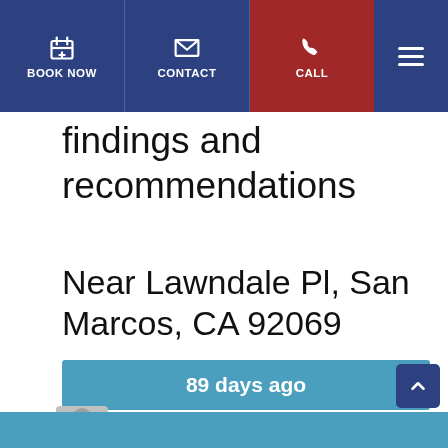BOOK NOW | CONTACT | CALL
findings and recommendations
Near Lawndale Pl, San Marcos, CA 92069
89 days ago
LUIS M.